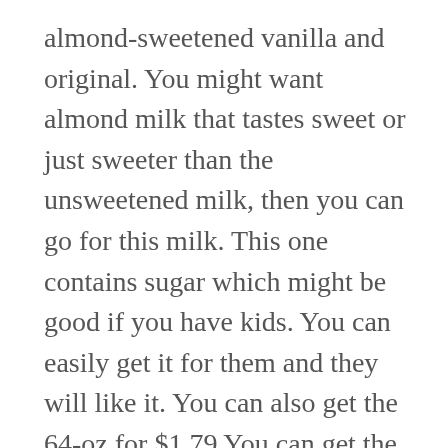almond-sweetened vanilla and original. You might want almond milk that tastes sweet or just sweeter than the unsweetened milk, then you can go for this milk. This one contains sugar which might be good if you have kids. You can easily get it for them and they will like it. You can also get the 64-oz for $1.79 You can get the almond milk chocolate flavor. You might think it is difficult to switch from animal-based milk to plant milk because you are less likely to get a wide variety of milk unlike the former.
However, you can still get the chocolate flavour of almond milk on Aldi which is tasty for the same price of $1.79 per 64-oz. They have the original organic almond. You might be interested in buying organic